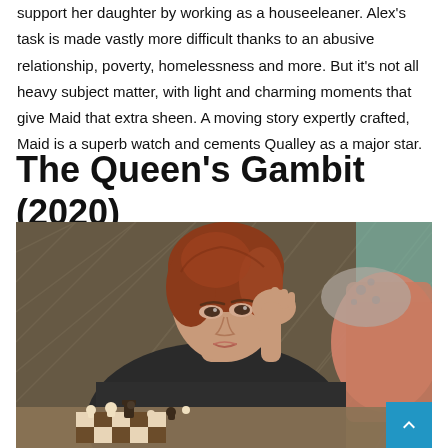support her daughter by working as a houseeleaner. Alex's task is made vastly more difficult thanks to an abusive relationship, poverty, homelessness and more. But it's not all heavy subject matter, with light and charming moments that give Maid that extra sheen. A moving story expertly crafted, Maid is a superb watch and cements Qualley as a major star.
The Queen's Gambit (2020)
[Figure (photo): A young woman with auburn/red hair, resting her head on her hand, sitting at a table with chess pieces in front of her. She is wearing a dark top. The background shows pillows and patterned wallpaper. A blue scroll-to-top button is visible in the bottom-right corner.]